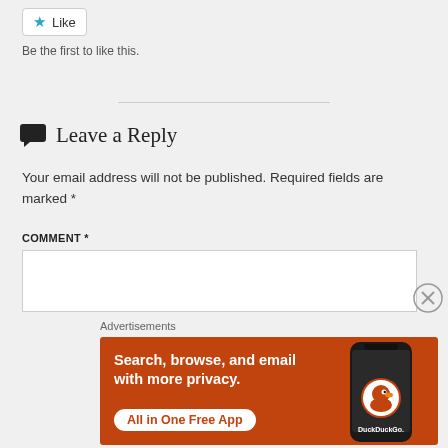[Figure (other): Like button with star icon]
Be the first to like this.
Leave a Reply
Your email address will not be published. Required fields are marked *
COMMENT *
[Figure (screenshot): DuckDuckGo advertisement banner: Search, browse, and email with more privacy. All in One Free App]
Advertisements